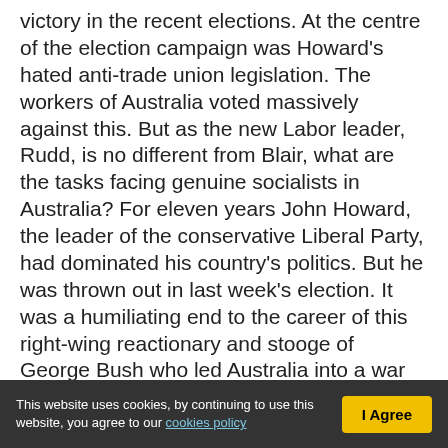victory in the recent elections. At the centre of the election campaign was Howard's hated anti-trade union legislation. The workers of Australia voted massively against this. But as the new Labor leader, Rudd, is no different from Blair, what are the tasks facing genuine socialists in Australia? For eleven years John Howard, the leader of the conservative Liberal Party, had dominated his country's politics. But he was thrown out in last week's election. It was a humiliating end to the career of this right-wing reactionary and stooge of George Bush who led Australia into a war against Iraq and resisted efforts to curb global warming.

It was a rout for the right-wing Liberal/National
This website uses cookies, by continuing to use this website, you agree to our cookies policy